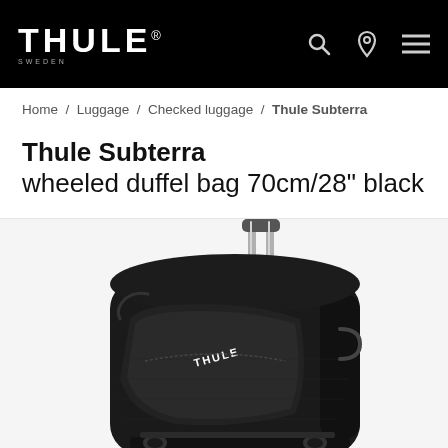THULE®
Home / Luggage / Checked luggage / Thule Subterra
Thule Subterra wheeled duffel bag 70cm/28" black
[Figure (photo): Thule Subterra wheeled duffel bag in black, shown with telescoping handle extended, standing upright. The bag features Thule branding on the front pocket.]